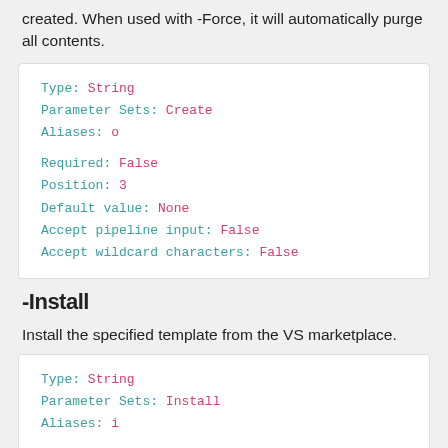created. When used with -Force, it will automatically purge all contents.
Type: String
Parameter Sets: Create
Aliases: o

Required: False
Position: 3
Default value: None
Accept pipeline input: False
Accept wildcard characters: False
-Install
Install the specified template from the VS marketplace.
Type: String
Parameter Sets: Install
Aliases: i

Required: True
Position: Named
Default value: None